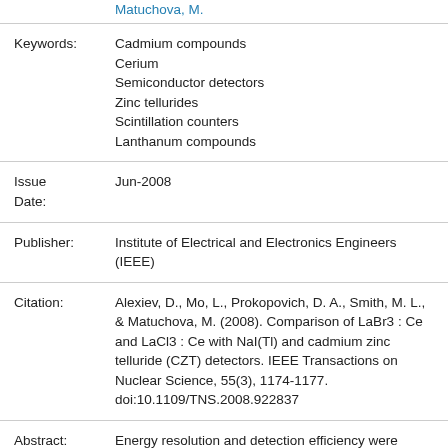Matuchova, M.
Keywords: Cadmium compounds
Cerium
Semiconductor detectors
Zinc tellurides
Scintillation counters
Lanthanum compounds
Issue Date: Jun-2008
Publisher: Institute of Electrical and Electronics Engineers (IEEE)
Citation: Alexiev, D., Mo, L., Prokopovich, D. A., Smith, M. L., & Matuchova, M. (2008). Comparison of LaBr3 : Ce and LaCl3 : Ce with NaI(Tl) and cadmium zinc telluride (CZT) detectors. IEEE Transactions on Nuclear Science, 55(3), 1174-1177. doi:10.1109/TNS.2008.922837
Abstract: Energy resolution and detection efficiency were compared between new scintillators, lanthanum